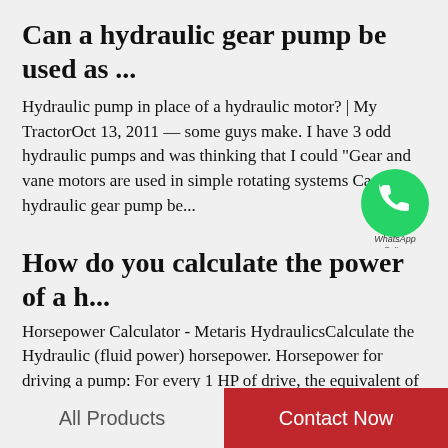Can a hydraulic gear pump be used as ...
Hydraulic pump in place of a hydraulic motor? | My TractorOct 13, 2011 — some guys make. I have 3 odd hydraulic pumps and was thinking that I could "Gear and vane motors are used in simple rotating systems Can a hydraulic gear pump be...
[Figure (logo): WhatsApp Online green circle logo with phone icon and text 'WhatsApp Online']
How do you calculate the power of a h...
Horsepower Calculator - Metaris HydraulicsCalculate the Hydraulic (fluid power) horsepower. Horsepower for driving a pump: For every 1 HP of drive, the equivalent of 1 GPM @ 1500 PSI can be  Hydraulic Motor Calculations - Womack Machine...
All Products   Contact Now